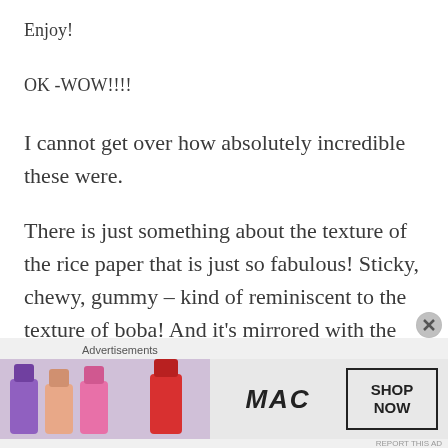Enjoy!
OK -WOW!!!!
I cannot get over how absolutely incredible these were.
There is just something about the texture of the rice paper that is just so fabulous! Sticky, chewy, gummy – kind of reminiscent to the texture of boba! And it's mirrored with the vermicelli noodles on the inside!
[Figure (other): MAC Cosmetics advertisement banner showing colorful lipsticks on the left, MAC logo in the center, and a 'SHOP NOW' button box on the right.]